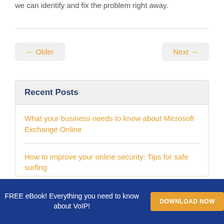we can identify and fix the problem right away.
← Older
Next →
Recent Posts
What your business needs to know about Microsoft Exchange Online
How to improve your online security: Tips for safe surfing
FREE eBook! Everything you need to know about VoIP! DOWNLOAD NOW